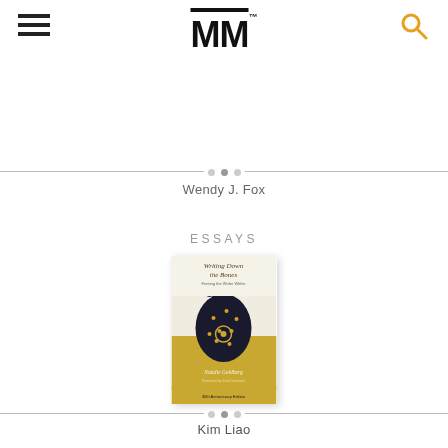MM (logo) — navigation header with hamburger menu and search icon
Wendy J. Fox
ESSAYS
[Figure (photo): Book cover of 'Writing Down the Bones: Freeing the Writer Within' by Natalie Goldberg, 30th Anniversary Edition. Gold and black illustrated cover showing a figure with stars.]
Kim Liao